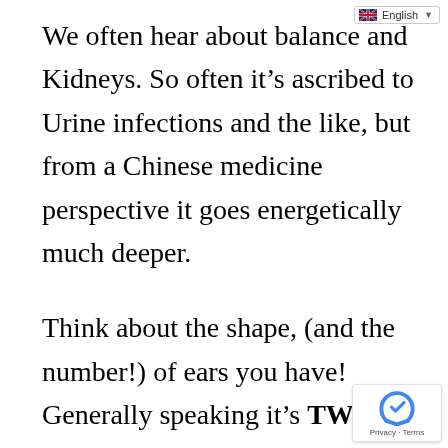English
We often hear about balance and Kidneys. So often it’s ascribed to Urine infections and the like, but from a Chinese medicine perspective it goes energetically much deeper.
Think about the shape, (and the number!) of ears you have! Generally speaking it’s TWO, exceptions allowed for crazed artists! What other small organs come in twos? You get a point if you answered Testicles or Ovaries and two points for Kidneys.